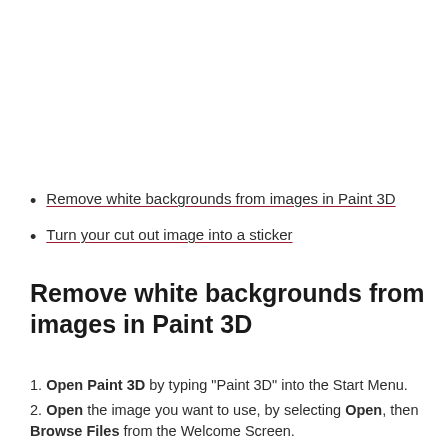Remove white backgrounds from images in Paint 3D
Turn your cut out image into a sticker
Remove white backgrounds from images in Paint 3D
1. Open Paint 3D by typing "Paint 3D" into the Start Menu.
2. Open the image you want to use, by selecting Open, then Browse Files from the Welcome Screen.